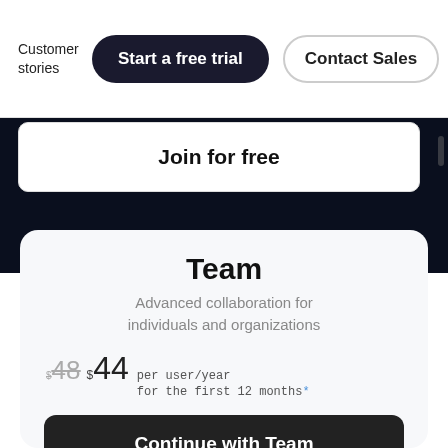Customer stories
Start a free trial
Contact Sales
Join for free
Team
Advanced collaboration for individuals and organizations
$48 $44 per user/year for the first 12 months*
Continue with Team
* Discounted pricing is for new yearly customers paying with credit cards or PayPal.